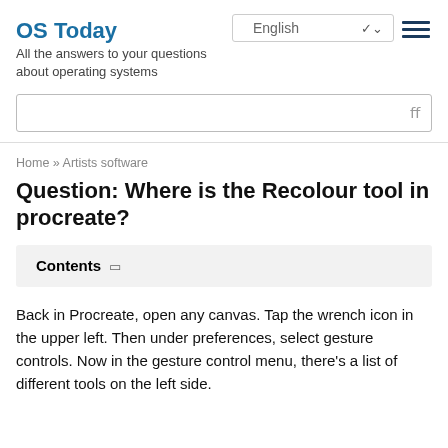OS Today
All the answers to your questions about operating systems
English
Home » Artists software
Question: Where is the Recolour tool in procreate?
Contents
Back in Procreate, open any canvas. Tap the wrench icon in the upper left. Then under preferences, select gesture controls. Now in the gesture control menu, there's a list of different tools on the left side.